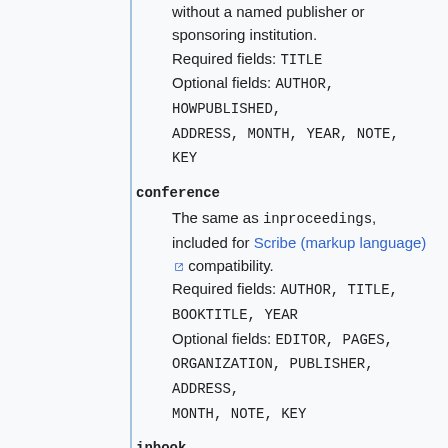without a named publisher or sponsoring institution.
Required fields: TITLE
Optional fields: AUTHOR, HOWPUBLISHED, ADDRESS, MONTH, YEAR, NOTE, KEY
conference
The same as inproceedings, included for Scribe (markup language) compatibility.
Required fields: AUTHOR, TITLE, BOOKTITLE, YEAR
Optional fields: EDITOR, PAGES, ORGANIZATION, PUBLISHER, ADDRESS, MONTH, NOTE, KEY
inbook
A part of a book, usually untitled. May be a chapter (or section or whatever) and/or a range of pages.
Required fields: AUTHOR/EDITOR, TITLE, CHAPTER/PAGES, PUBLISHER, YEAR